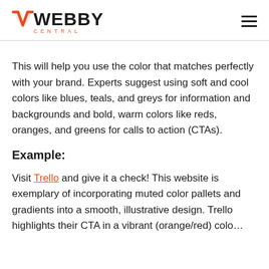[Figure (logo): Webby Central logo with orange/red chevron W icon and CENTRAL text below]
This will help you use the color that matches perfectly with your brand. Experts suggest using soft and cool colors like blues, teals, and greys for information and backgrounds and bold, warm colors like reds, oranges, and greens for calls to action (CTAs).
Example:
Visit Trello and give it a check! This website is exemplary of incorporating muted color pallets and gradients into a smooth, illustrative design. Trello highlights their CTA in a vibrant (orange/red) color...